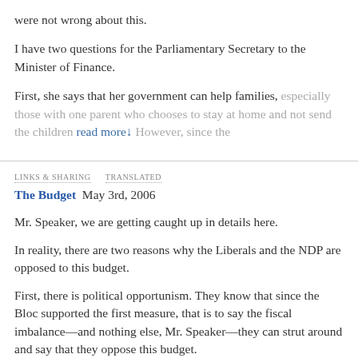were not wrong about this.
I have two questions for the Parliamentary Secretary to the Minister of Finance.
First, she says that her government can help families, especially those with one parent who chooses to stay at home and not send the children read more↓ However, since the
LINKS & SHARING   TRANSLATED
The Budget  May 3rd, 2006
Mr. Speaker, we are getting caught up in details here.
In reality, there are two reasons why the Liberals and the NDP are opposed to this budget.
First, there is political opportunism. They know that since the Bloc supported the first measure, that is to say the fiscal imbalance—and nothing else, Mr. Speaker—they can strut around and say that they oppose this budget.